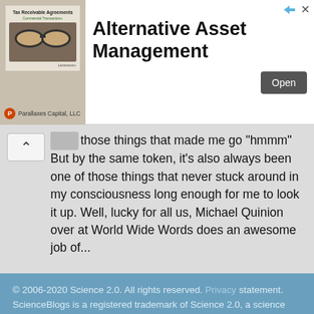[Figure (other): Advertisement banner for Alternative Asset Management by Parallaxes Capital, LLC. Shows an image of glasses on a book about Tax Receivable Agreements, with a bold headline 'Alternative Asset Management' and an 'Open' button. Has triangle/X dismiss icons in top right.]
those things that made me go "hmmm" But by the same token, it's also always been one of those things that never stuck around in my consciousness long enough for me to look it up. Well, lucky for all us, Michael Quinion over at World Wide Words does an awesome job of...
© 2006-2020 Science 2.0. All rights reserved. Privacy statement. ScienceBlogs is a registered trademark of Science 2.0, a science media nonprofit operating under Section 501(c)(3) of the Internal Revenue Code. Contributions are fully tax-deductible.